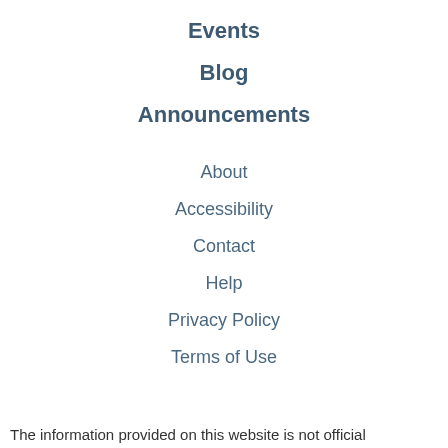Events
Blog
Announcements
About
Accessibility
Contact
Help
Privacy Policy
Terms of Use
The information provided on this website is not official